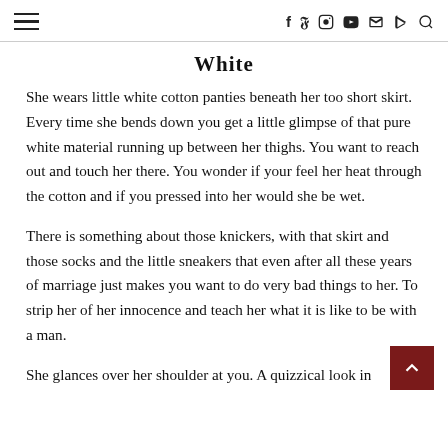[hamburger menu] [social icons: f, twitter, instagram, youtube, email, rss, search]
White
She wears little white cotton panties beneath her too short skirt. Every time she bends down you get a little glimpse of that pure white material running up between her thighs. You want to reach out and touch her there. You wonder if your feel her heat through the cotton and if you pressed into her would she be wet.
There is something about those knickers, with that skirt and those socks and the little sneakers that even after all these years of marriage just makes you want to do very bad things to her. To strip her of her innocence and teach her what it is like to be with a man.
She glances over her shoulder at you. A quizzical look in